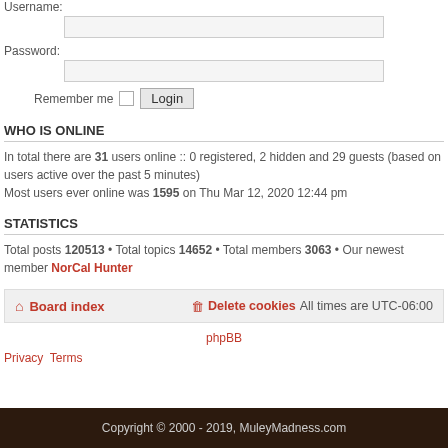Username:
Password:
Remember me  Login
WHO IS ONLINE
In total there are 31 users online :: 0 registered, 2 hidden and 29 guests (based on users active over the past 5 minutes)
Most users ever online was 1595 on Thu Mar 12, 2020 12:44 pm
STATISTICS
Total posts 120513 • Total topics 14652 • Total members 3063 • Our newest member NorCal Hunter
Board index   Delete cookies   All times are UTC-06:00
phpBB
Privacy  Terms
Copyright © 2000 - 2019, MuleyMadness.com